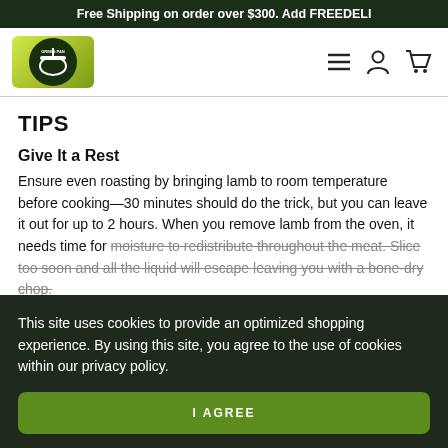Free Shipping on order over $300. Add FREEDELI
[Figure (logo): GreenPan logo - green background with dark circle containing pan icon and GREENPAN text]
TIPS
Give It a Rest
Ensure even roasting by bringing lamb to room temperature before cooking—30 minutes should do the trick, but you can leave it out for up to 2 hours. When you remove lamb from the oven, it needs time for moisture to redistribute throughout the meat. Slice too soon and all the liquid will escape leaving you with a bone-dry chop.
This site uses cookies to provide an optimized shopping experience. By using this site, you agree to the use of cookies within our privacy policy.
I AGREE